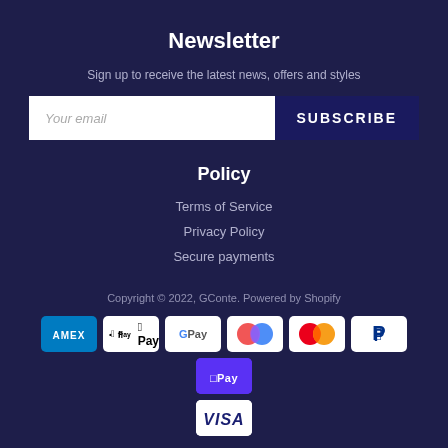Newsletter
Sign up to receive the latest news, offers and styles
Your email
SUBSCRIBE
Policy
Terms of Service
Privacy Policy
Secure payments
Copyright © 2022, GConte. Powered by Shopify
[Figure (other): Payment method logos: American Express, Apple Pay, Google Pay, Maestro, Mastercard, PayPal, Shop Pay, Visa]